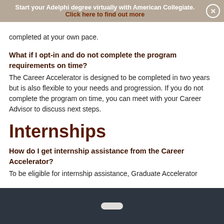Start your Adelphi degree virtually with American Collegiate. Click here to find out more
completed at your own pace.
What if I opt-in and do not complete the program requirements on time?
The Career Accelerator is designed to be completed in two years but is also flexible to your needs and progression. If you do not complete the program on time, you can meet with your Career Advisor to discuss next steps.
Internships
How do I get internship assistance from the Career Accelerator?
To be eligible for internship assistance, Graduate Accelerator